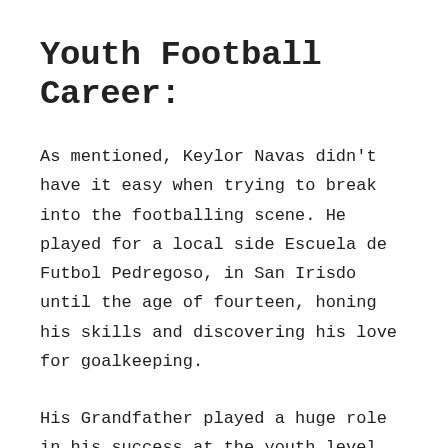Youth Football Career:
As mentioned, Keylor Navas didn't have it easy when trying to break into the footballing scene. He played for a local side Escuela de Futbol Pedregoso, in San Irisdo until the age of fourteen, honing his skills and discovering his love for goalkeeping.
His Grandfather played a huge role in his success at the youth level and would be the person who would facilitate travel between training sessions, allowing Keylor to progress and develop at a steady pace. However, Keylor was acutely aware that this local team would never be able to offer a pathway to bigger